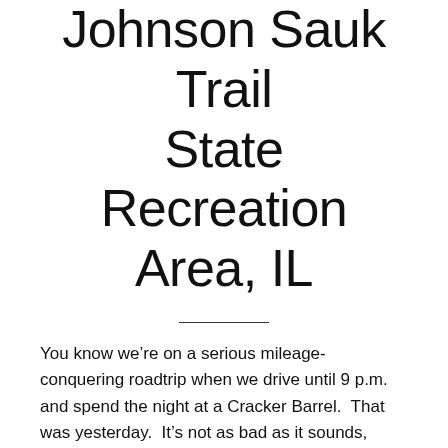Johnson Sauk Trail State Recreation Area, IL
You know we’re on a serious mileage-conquering roadtrip when we drive until 9 p.m. and spend the night at a Cracker Barrel.  That was yesterday.  It’s not as bad as it sounds, since our drive was pretty pleasant and the night was reasonably quiet, but still it’s not an experience I care to repeat any time soon.
We’ve been lucky this year because the weather has been extremely nice as we have descended slowly from the altitude of Colorado and Nevada into a warmer climate.